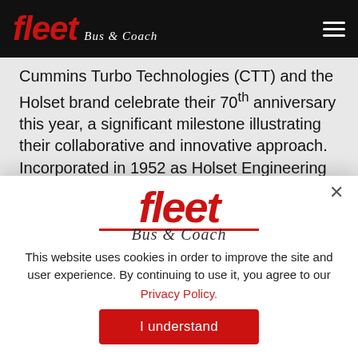fleet Bus & Coach
Cummins Turbo Technologies (CTT) and the Holset brand celebrate their 70th anniversary this year, a significant milestone illustrating their collaborative and innovative approach. Incorporated in 1952 as Holset Engineering Co Ltd, it was acquired by Cummins Inc. in 1973, and
[Figure (logo): Fleet Bus & Coach logo — red italic 'fleet' text with red underline and italic script 'Bus & Coach' beneath]
This website uses cookies in order to improve the site and user experience. By continuing to use it, you agree to our Privacy Policy.
I understand